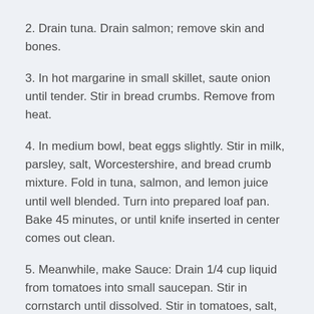2. Drain tuna. Drain salmon; remove skin and bones.
3. In hot margarine in small skillet, saute onion until tender. Stir in bread crumbs. Remove from heat.
4. In medium bowl, beat eggs slightly. Stir in milk, parsley, salt, Worcestershire, and bread crumb mixture. Fold in tuna, salmon, and lemon juice until well blended. Turn into prepared loaf pan. Bake 45 minutes, or until knife inserted in center comes out clean.
5. Meanwhile, make Sauce: Drain 1/4 cup liquid from tomatoes into small saucepan. Stir in cornstarch until dissolved. Stir in tomatoes, salt, thyme, and remaining liquid. Bring to boiling, stirring constantly. Keep warm.
6. Let loaf stand about 3 minutes. Loosen around edges with spatula. Holding foil, gently lift loaf onto serving